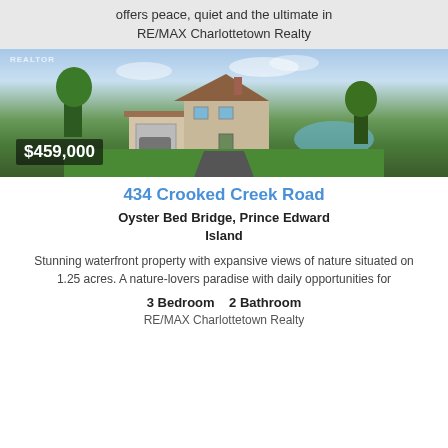offers peace, quiet and the ultimate in
RE/MAX Charlottetown Realty
[Figure (photo): Exterior photo of a two-storey house with attached garage, paved driveway, green lawn, and a pond visible in the background. Price overlay shows $459,000.]
434 Crooked Creek Road
Oyster Bed Bridge, Prince Edward Island
Stunning waterfront property with expansive views of nature situated on 1.25 acres. A nature-lovers paradise with daily opportunities for
3 Bedroom   2 Bathroom
RE/MAX Charlottetown Realty